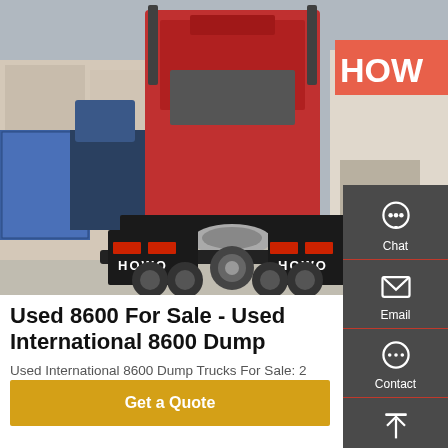[Figure (photo): Rear view of a red HOWO semi-truck/tractor unit parked in a commercial yard with other trucks and warehouse buildings visible in the background. The mud flaps read 'HOWO' in white letters.]
Used 8600 For Sale - Used International 8600 Dump Trucks
Used International 8600 Dump Trucks For Sale: 2 Dump Trucks - Find Used International 8600 Dump Trucks on Commercial Truck Trader.
Get a Quote